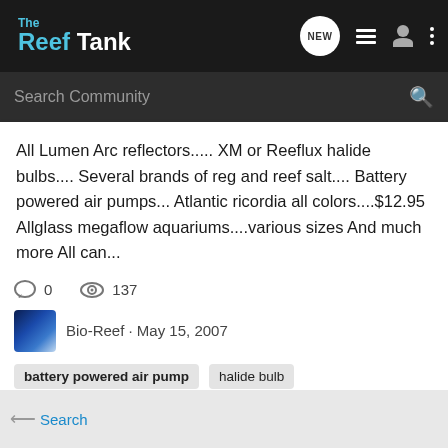The Reef Tank
All Lumen Arc reflectors..... XM or Reeflux halide bulbs.... Several brands of reg and reef salt.... Battery powered air pumps... Atlantic ricordia all colors....$12.95 Allglass megaflow aquariums....various sizes And much more All can...
0   137
Bio-Reef · May 15, 2007
battery powered air pump
halide bulb
1-20 of 85 Results
1 of 5